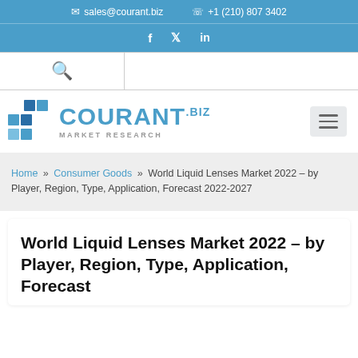✉ sales@courant.biz   ☏ +1 (210) 807 3402
f  𝕏  in
[Figure (logo): Courant.biz Market Research logo with blue geometric squares and blue text]
Home » Consumer Goods » World Liquid Lenses Market 2022 – by Player, Region, Type, Application, Forecast 2022-2027
World Liquid Lenses Market 2022 – by Player, Region, Type, Application, Forecast